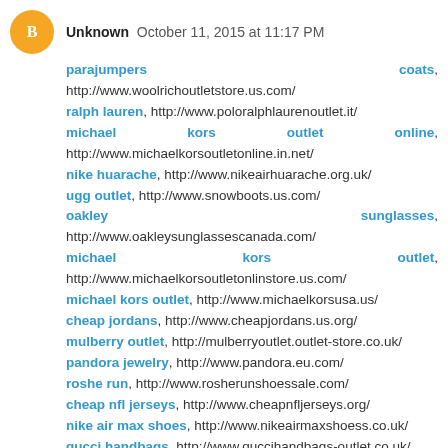Unknown  October 11, 2015 at 11:17 PM
parajumpers coats, http://www.woolrichoutletstore.us.com/ ralph lauren, http://www.poloralphlaurenoutlet.it/ michael kors outlet online, http://www.michaelkorsoutletonline.in.net/ nike huarache, http://www.nikeairhuarache.org.uk/ ugg outlet, http://www.snowboots.us.com/ oakley sunglasses, http://www.oakleysunglassescanada.com/ michael kors outlet, http://www.michaelkorsoutletonlinstore.us.com/ michael kors outlet, http://www.michaelkorsusa.us/ cheap jordans, http://www.cheapjordans.us.org/ mulberry outlet, http://mulberryoutlet.outlet-store.co.uk/ pandora jewelry, http://www.pandora.eu.com/ roshe run, http://www.rosherunshoessale.com/ cheap nfl jerseys, http://www.cheapnfljerseys.org/ nike air max shoes, http://www.nikeairmaxshoess.co.uk/ gucci handbags, http://www.guccihandbags-outlet.co.uk/ longchamp handbags,